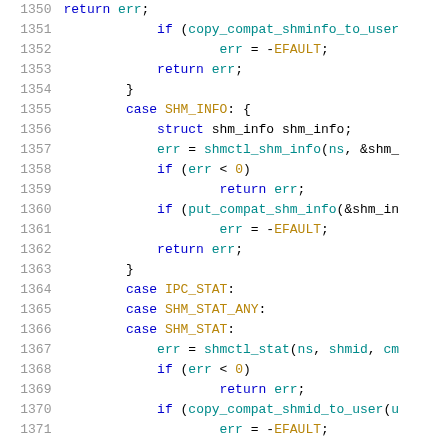[Figure (screenshot): Source code listing showing lines 1350-1371 of a C kernel file dealing with shared memory control (shmctl) operations including SHM_INFO, IPC_STAT, SHM_STAT_ANY, SHM_STAT cases]